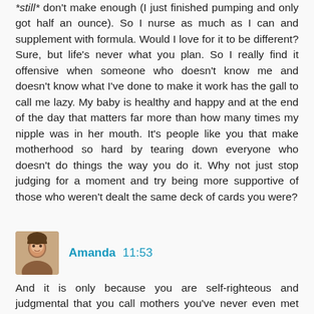*still* don't make enough (I just finished pumping and only got half an ounce). So I nurse as much as I can and supplement with formula. Would I love for it to be different? Sure, but life's never what you plan. So I really find it offensive when someone who doesn't know me and doesn't know what I've done to make it work has the gall to call me lazy. My baby is healthy and happy and at the end of the day that matters far more than how many times my nipple was in her mouth. It's people like you that make motherhood so hard by tearing down everyone who doesn't do things the way you do it. Why not just stop judging for a moment and try being more supportive of those who weren't dealt the same deck of cards you were?
Amanda 11:53
And it is only because you are self-righteous and judgmental that you call mothers you've never even met lazy. Just another fact.